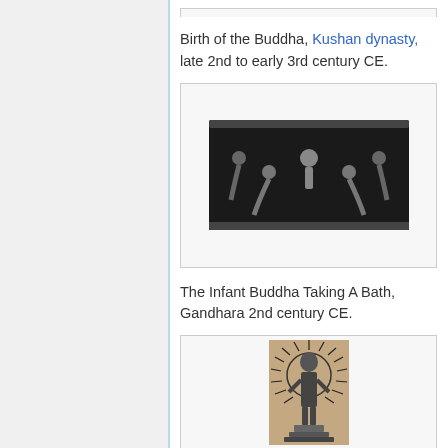Birth of the Buddha, Kushan dynasty, late 2nd to early 3rd century CE.
[Figure (photo): Relief sculpture showing the Infant Buddha bathing scene with attendants, dark stone carving, Gandhara style.]
The Infant Buddha Taking A Bath, Gandhara 2nd century CE.
[Figure (photo): Statue of Buddha standing with elaborate halo/aureole of spikes, bronze or dark metal figure on a pedestal, Gandhara style.]